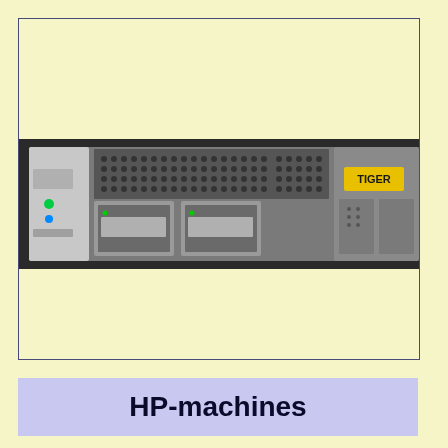[Figure (photo): Front panel of an HP rack-mounted server unit labeled TIGER. The 1U rack server has a dark chassis with ventilation grilles, drive bays with handles, indicator LEDs (including a blue light), and a yellow label reading TIGER on the right side.]
HP-machines